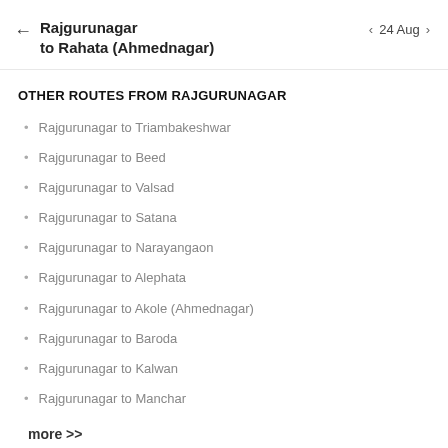Rajgurunagar to Rahata (Ahmednagar)  ← | 24 Aug ›
OTHER ROUTES FROM RAJGURUNAGAR
Rajgurunagar to Triambakeshwar
Rajgurunagar to Beed
Rajgurunagar to Valsad
Rajgurunagar to Satana
Rajgurunagar to Narayangaon
Rajgurunagar to Alephata
Rajgurunagar to Akole (Ahmednagar)
Rajgurunagar to Baroda
Rajgurunagar to Kalwan
Rajgurunagar to Manchar
more >>